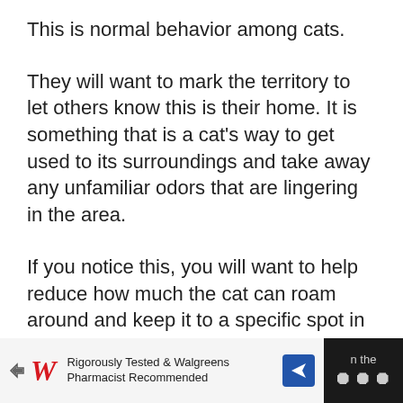This is normal behavior among cats.
They will want to mark the territory to let others know this is their home. It is something that is a cat's way to get used to its surroundings and take away any unfamiliar odors that are lingering in the area.
If you notice this, you will want to help reduce how much the cat can roam around and keep it to a specific spot in the house until it adjusts.
[Figure (screenshot): Advertisement banner at bottom of page showing Walgreens logo with text 'Rigorously Tested & Walgreens Pharmacist Recommended' and a navigation arrow icon, on a dark background with partial text visible on right side.]